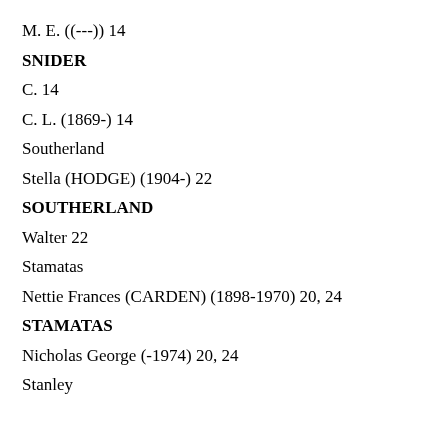M. E. ((---)) 14
SNIDER
C. 14
C. L. (1869-) 14
Southerland
Stella (HODGE) (1904-) 22
SOUTHERLAND
Walter 22
Stamatas
Nettie Frances (CARDEN) (1898-1970) 20, 24
STAMATAS
Nicholas George (-1974) 20, 24
Stanley